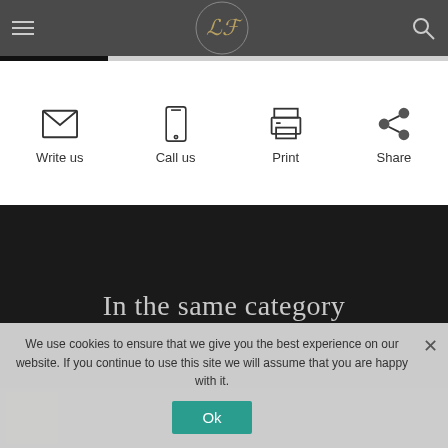[Figure (screenshot): Website header with hamburger menu icon on left, decorative monogram logo in center, search icon on right, on dark gray background]
[Figure (infographic): Four contact action icons in a row: envelope (Write us), smartphone (Call us), printer (Print), share nodes (Share)]
In the same category
We use cookies to ensure that we give you the best experience on our website. If you continue to use this site we will assume that you are happy with it.